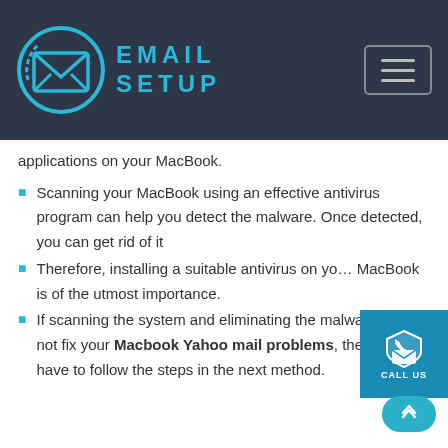EMAIL SETUP
applications on your MacBook.
Scanning your MacBook using an effective antivirus program can help you detect the malware. Once detected, you can get rid of it
Therefore, installing a suitable antivirus on your MacBook is of the utmost importance.
If scanning the system and eliminating the malware does not fix your Macbook Yahoo mail problems, then you have to follow the steps in the next method.